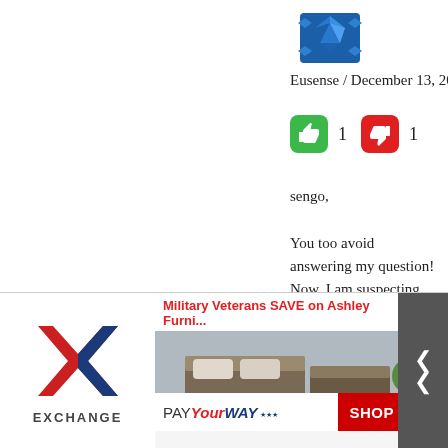[Figure (illustration): Blue geometric/mosaic avatar icon for user Eusense, positioned top center-right]
Eusense / December 13, 2014
[Figure (infographic): Green thumbs-up button with count 1, and red thumbs-down button with count 1 (voting buttons)]
sengo,
You too avoid answering my question! Now, I am suspecting these so called “problems” are a farce!
[Figure (illustration): Purple/violet geometric mosaic avatar icon for user Ben Dover]
Ben Dover / December 12, 2014
[Figure (infographic): Advertisement banner: Exchange logo on left, Military Veterans SAVE on Ashley Furniture ad with bedroom furniture image, PAY Your WAY and SHOP NOW call to action]